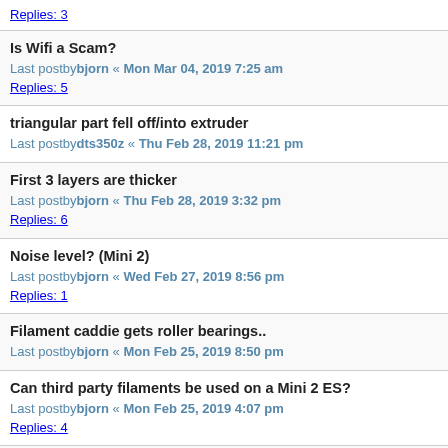Replies: 3
Is Wifi a Scam?
Last postby bjorn « Mon Mar 04, 2019 7:25 am
Replies: 5
triangular part fell off/into extruder
Last postby dts350z « Thu Feb 28, 2019 11:21 pm
First 3 layers are thicker
Last postby bjorn « Thu Feb 28, 2019 3:32 pm
Replies: 6
Noise level? (Mini 2)
Last postby bjorn « Wed Feb 27, 2019 8:56 pm
Replies: 1
Filament caddie gets roller bearings..
Last postby bjorn « Mon Feb 25, 2019 8:50 pm
Can third party filaments be used on a Mini 2 ES?
Last postby bjorn « Mon Feb 25, 2019 4:07 pm
Replies: 4
Additional costs for ES?
Last postby bjorn « Sun Feb 24, 2019 10:13 pm
Replies: 1
Alternate Slicer software
Last postby bjorn « Sun Feb 24, 2019 10:10 pm